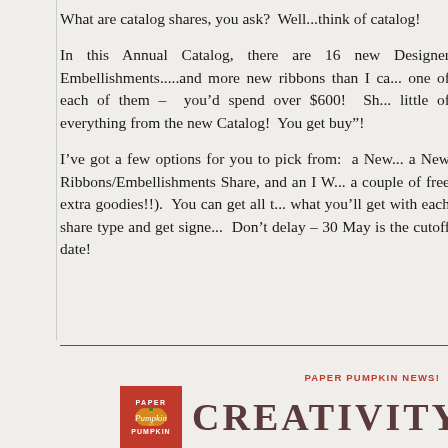What are catalog shares, you ask?  Well...think of catalog!
In this Annual Catalog, there are 16 new Designer Embellishments.....and more new ribbons than I ca... one of each of them – you'd spend over $600!  Sh... little of everything from the new Catalog!  You get buy"!
I've got a few options for you to pick from:  a New... a New Ribbons/Embellishments Share, and an I W... a couple of free extra goodies!!).  You can get all t... what you'll get with each share type and get signe...  Don't delay – 30 May is the cutoff date!
PAPER PUMPKIN NEWS!
[Figure (logo): Paper Pumpkin logo in red square with CREATIVITY text beside it]